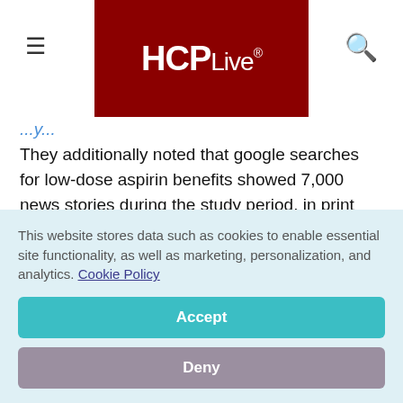HCPLive®
They additionally noted that google searches for low-dose aspirin benefits showed 7,000 news stories during the study period, in print and digital media.
Participants in Minnesota had reported
This website stores data such as cookies to enable essential site functionality, as well as marketing, personalization, and analytics. Cookie Policy
Accept
Deny